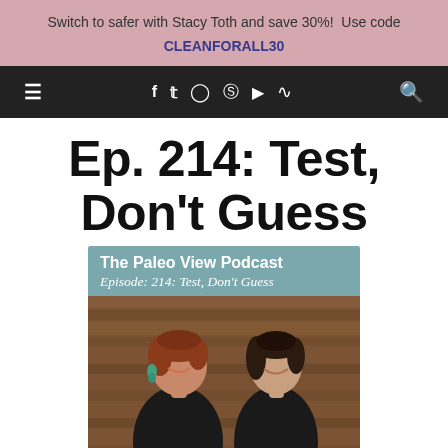Switch to safer with Stacy Toth and save 30%! Use code CLEANFORALL30
[Figure (screenshot): Dark navigation bar with hamburger menu icon on left, social media icons (f, twitter, instagram, pinterest, youtube, rss) in center, and search icon on right]
Ep. 214: Test, Don't Guess
[Figure (photo): Podcast cover image for The Paleo View Podcast Episode 214: Test, Don't Guess, showing two smiling women in black tops against a wooden background, with a teal/blue-green header bar containing the podcast title and episode name]